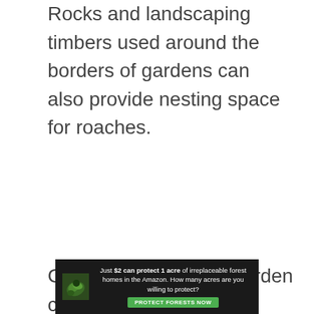Rocks and landscaping timbers used around the borders of gardens can also provide nesting space for roaches.
Cockroaches in your garden can easily wander
[Figure (infographic): Advertisement banner: dark background with forest/leaf image on left, white text reading 'Just $2 can protect 1 acre of irreplaceable forest homes in the Amazon. How many acres are you willing to protect?' and a green 'PROTECT FORESTS NOW' button.]